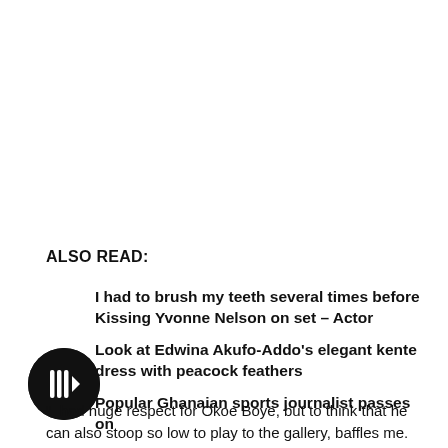ALSO READ:
I had to brush my teeth several times before Kissing Yvonne Nelson on set – Actor
Look at Edwina Akufo-Addo's elegant kente dress with peacock feathers
Popular Ghanaian sports journalist passes on
[Figure (illustration): Black circular play button icon with white triangular play symbol]
“I had huge respect for Okoe Boye, but to think that he can also stoop so low to play to the gallery, baffles me. Okoe